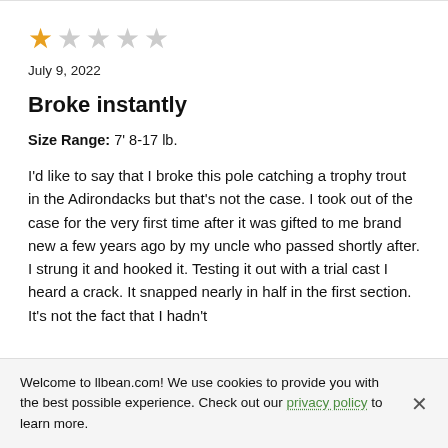[Figure (other): Star rating: 1 out of 5 stars (one filled gold star, four empty gray stars)]
July 9, 2022
Broke instantly
Size Range: 7' 8-17 lb.
I'd like to say that I broke this pole catching a trophy trout in the Adirondacks but that's not the case. I took out of the case for the very first time after it was gifted to me brand new a few years ago by my uncle who passed shortly after. I strung it and hooked it. Testing it out with a trial cast I heard a crack. It snapped nearly in half in the first section. It's not the fact that I hadn't
Welcome to llbean.com! We use cookies to provide you with the best possible experience. Check out our privacy policy to learn more.